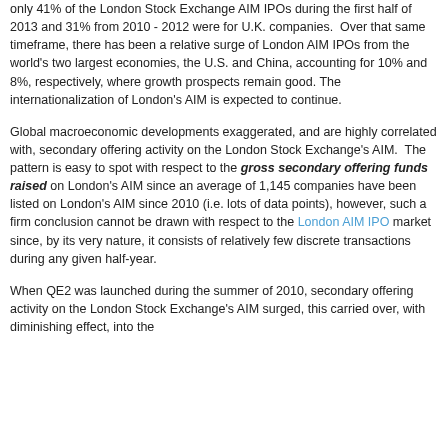only 41% of the London Stock Exchange AIM IPOs during the first half of 2013 and 31% from 2010 - 2012 were for U.K. companies.  Over that same timeframe, there has been a relative surge of London AIM IPOs from the world's two largest economies, the U.S. and China, accounting for 10% and 8%, respectively, where growth prospects remain good. The internationalization of London's AIM is expected to continue.
Global macroeconomic developments exaggerated, and are highly correlated with, secondary offering activity on the London Stock Exchange's AIM.  The pattern is easy to spot with respect to the gross secondary offering funds raised on London's AIM since an average of 1,145 companies have been listed on London's AIM since 2010 (i.e. lots of data points), however, such a firm conclusion cannot be drawn with respect to the London AIM IPO market since, by its very nature, it consists of relatively few discrete transactions during any given half-year.
When QE2 was launched during the summer of 2010, secondary offering activity on the London Stock Exchange's AIM surged, this carried over, with diminishing effect, into the